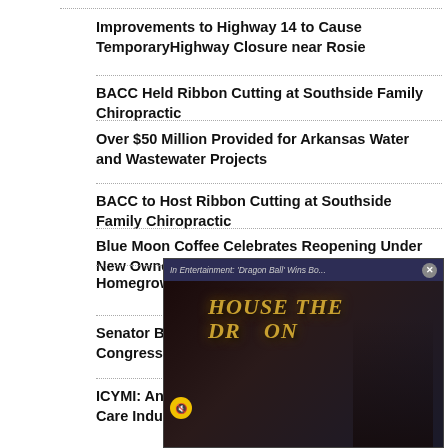Improvements to Highway 14 to Cause TemporaryHighway Closure near Rosie
BACC Held Ribbon Cutting at Southside Family Chiropractic
Over $50 Million Provided for Arkansas Water and Wastewater Projects
BACC to Host Ribbon Cutting at Southside Family Chiropractic
Blue Moon Coffee Celebrates Reopening Under New Ownership
Homegrown By Heroes Training
Senator Boozman-Backed Congress, Awaits Presi...
ICYMI: Analysis Shows Care Industry $10 Billio...
[Figure (screenshot): Video ad overlay showing 'House of the Dragon' promotional content with a mute button and close button, header text reading 'In Entertainment: Dragon Ball Wins Bo...']